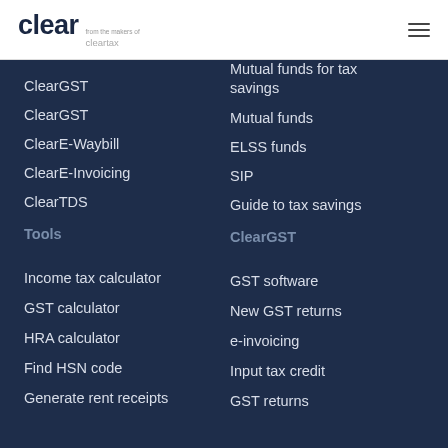clear from the makers of cleartax
Mutual funds for tax savings
Mutual funds
ELSS funds
SIP
Guide to tax savings
ClearGST
ClearGST
ClearGST
ClearE-Waybill
ClearE-Invoicing
ClearTDS
Tools
Income tax calculator
GST calculator
HRA calculator
Find HSN code
Generate rent receipts
ClearGST
GST software
New GST returns
e-invoicing
Input tax credit
GST returns